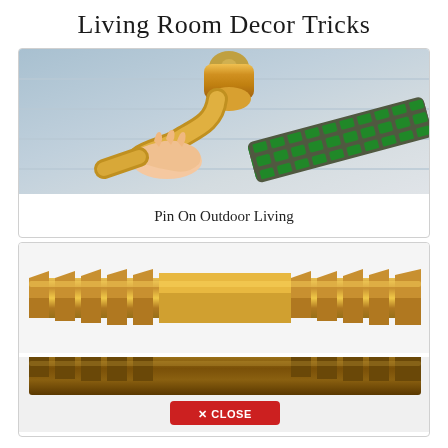Living Room Decor Tricks
[Figure (photo): A hand connecting a brass garden hose fitting to an outdoor spigot, with a green and grey hose visible on the right side against a white siding background]
Pin On Outdoor Living
[Figure (photo): A brass barbed hose mender/coupler fitting with ribbed ridges on both ends, viewed from the side against a white background]
[Figure (photo): A darker brass or bronze barbed fitting, similar to above but darker in color, with a red CLOSE button overlay at the bottom]